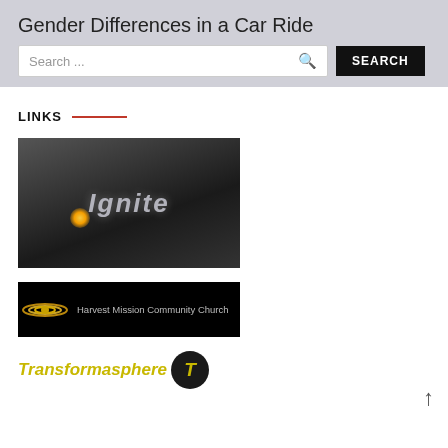Gender Differences in a Car Ride
Search ...
SEARCH
LINKS
[Figure (logo): Ignite logo on dark gradient background with golden light flare]
[Figure (logo): Harvest Mission Community Church logo with rings on black background]
[Figure (logo): Transformasphere logo in yellow italic text with black circular T icon]